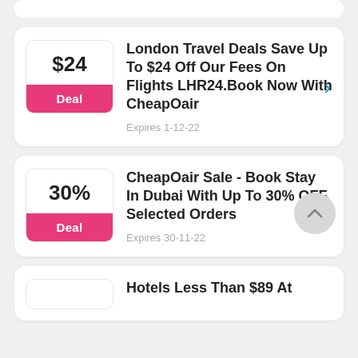[Figure (other): Partial top card stub, white rounded rectangle, partially visible at top]
London Travel Deals Save Up To $24 Off Our Fees On Flights LHR24.Book Now With CheapOair
Expires 1-12-22
CheapOair Sale - Book Stay In Dubai With Up To 30% OFF Selected Orders
Expires 30-11-22
Hotels Less Than $89 At